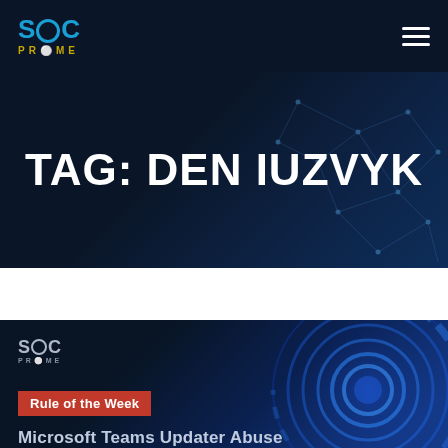[Figure (logo): SOC Prime logo in navigation bar — blue 'SOC' text with circular O and gold 'PRIME' text below]
[Figure (illustration): Hamburger menu icon (three white horizontal lines) in top right corner]
TAG: DEN IUZVYK
[Figure (illustration): Network graph / tech decoration in hero banner background]
[Figure (illustration): Card image with SOC Prime logo, blue circular radar graphic, red 'Rule of the Week' label, and partial title 'Microsoft Teams Updater Abuse']
Rule of the Week
Microsoft Teams Updater Abuse